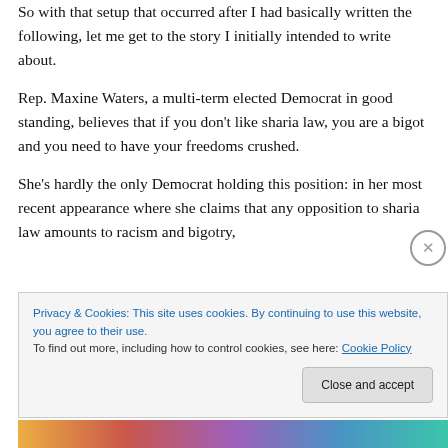So with that setup that occurred after I had basically written the following, let me get to the story I initially intended to write about.
Rep. Maxine Waters, a multi-term elected Democrat in good standing, believes that if you don't like sharia law, you are a bigot and you need to have your freedoms crushed.
She's hardly the only Democrat holding this position: in her most recent appearance where she claims that any opposition to sharia law amounts to racism and bigotry,
Privacy & Cookies: This site uses cookies. By continuing to use this website, you agree to their use.
To find out more, including how to control cookies, see here: Cookie Policy
Close and accept